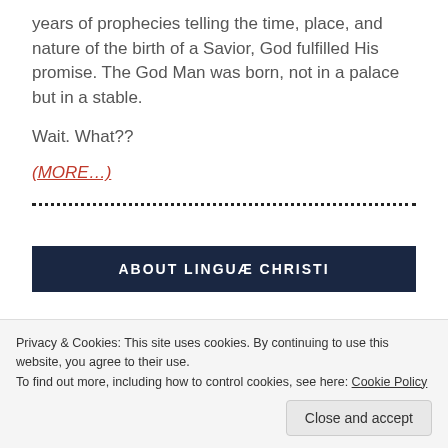years of prophecies telling the time, place, and nature of the birth of a Savior, God fulfilled His promise. The God Man was born, not in a palace but in a stable.
Wait. What??
(MORE…)
ABOUT LINGUÆ CHRISTI
Privacy & Cookies: This site uses cookies. By continuing to use this website, you agree to their use.
To find out more, including how to control cookies, see here: Cookie Policy
Close and accept
indigenous minority language groups of Europ...